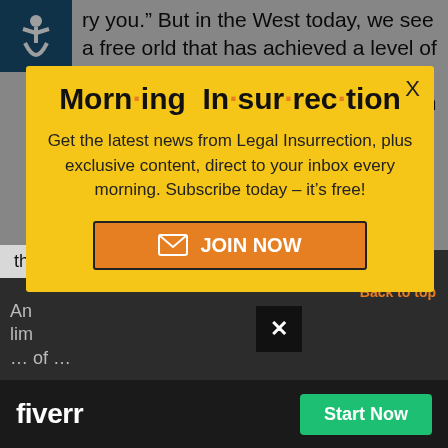ry you.” But in the West today, we see a free world that has achieved a level of prosperity and well-being unprecedented in all human history. In the Communist world, we see
[Figure (infographic): Morning Insurrection newsletter signup modal popup with yellow background, bold title 'Morn·ing In·sur·rec·tion', subscription pitch text, and orange JOIN NOW button]
the victor.
An… lim… … of …
[Figure (infographic): Fiverr advertisement bar at bottom: black background with Fiverr logo in white and green Start Now button]